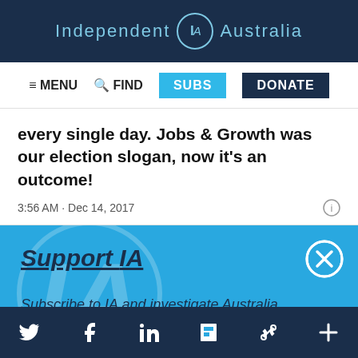Independent IA Australia
≡ MENU  🔍 FIND  SUBS  DONATE
every single day. Jobs & Growth was our election slogan, now it's an outcome!
3:56 AM · Dec 14, 2017
Support IA
Subscribe to IA and investigate Australia today.
Close  Subscribe  Donate
Twitter  Facebook  LinkedIn  Flipboard  Share  More